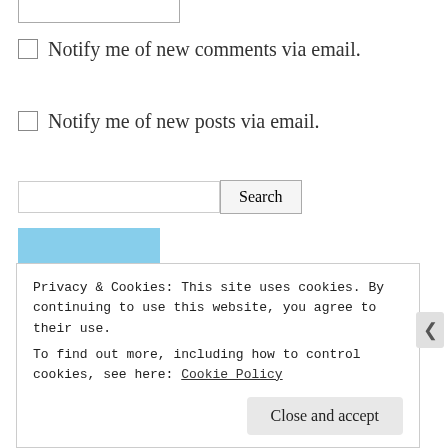Notify me of new comments via email.
Notify me of new posts via email.
Search
[Figure (photo): Profile photo of a person smiling outdoors with blue sky background]
Privacy & Cookies: This site uses cookies. By continuing to use this website, you agree to their use.
To find out more, including how to control cookies, see here: Cookie Policy
Close and accept